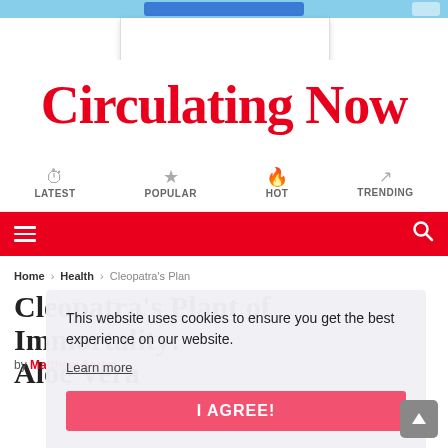Circulating Now
LATEST  POPULAR  HOT  TRENDING
Home > Health > Cleopatra's Plan
Cleopatra's Plant of Immortality: Aloe Vera
by Matthew Aaron
This website uses cookies to ensure you get the best experience on our website.
Learn more
I AGREE!